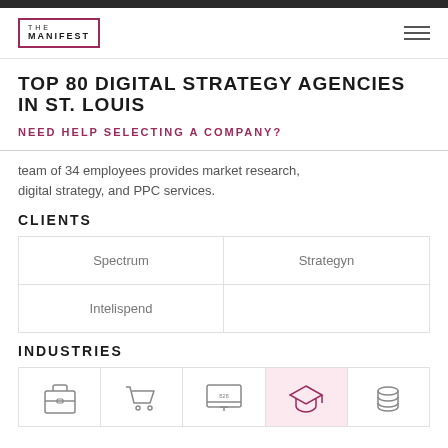THE MANIFEST
TOP 80 DIGITAL STRATEGY AGENCIES IN ST. LOUIS
NEED HELP SELECTING A COMPANY?
team of 34 employees provides market research, digital strategy, and PPC services.
CLIENTS
| Spectrum | Strategyn |
| Intelispend |  |
INDUSTRIES
[Figure (illustration): Row of industry icons: briefcase, shopping cart, computer/monitor, graduation cap, coins/money stack]